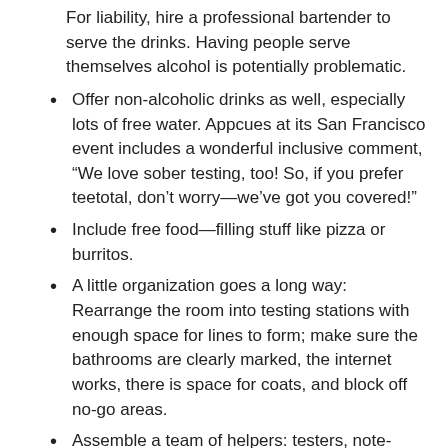For liability, hire a professional bartender to serve the drinks. Having people serve themselves alcohol is potentially problematic.
Offer non-alcoholic drinks as well, especially lots of free water. Appcues at its San Francisco event includes a wonderful inclusive comment, “We love sober testing, too! So, if you prefer teetotal, don’t worry—we’ve got you covered!”
Include free food—filling stuff like pizza or burritos.
A little organization goes a long way: Rearrange the room into testing stations with enough space for lines to form; make sure the bathrooms are clearly marked, the internet works, there is space for coats, and block off no-go areas.
Assemble a team of helpers: testers, note-takers, greeters, and possibly security. These people are “on duty” and should conduct themselves accordingly. Arrange for relief testers to take over stations at some point in the evening.